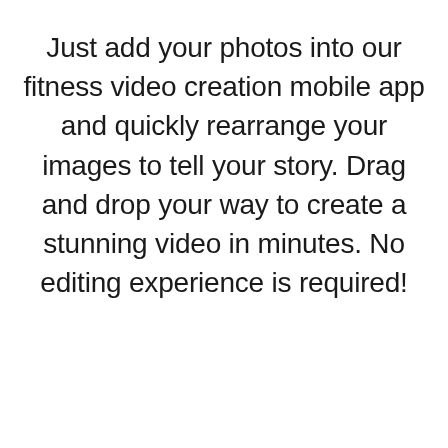Just add your photos into our fitness video creation mobile app and quickly rearrange your images to tell your story. Drag and drop your way to create a stunning video in minutes. No editing experience is required!